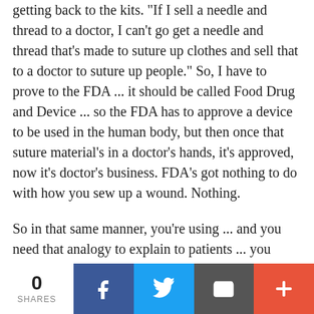getting back to the kits. "If I sell a needle and thread to a doctor, I can't go get a needle and thread that's made to suture up clothes and sell that to a doctor to suture up people." So, I have to prove to the FDA ... it should be called Food Drug and Device ... so the FDA has to approve a device to be used in the human body, but then once that suture material's in a doctor's hands, it's approved, now it's doctor's business. FDA's got nothing to do with how you sew up a wound. Nothing.
So in that same manner, you're using ... and you need that analogy to explain to patients ... you should be using a device that's FDA approved to prepare blood, not to examine in the laboratory
0 SHARES | Facebook | Twitter | Email | +